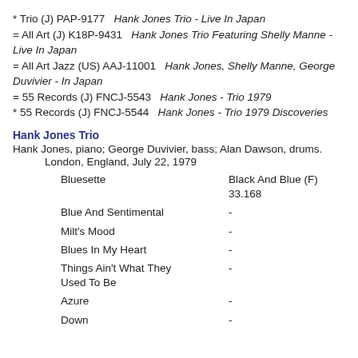* Trio (J) PAP-9177   Hank Jones Trio - Live In Japan
= All Art (J) K18P-9431   Hank Jones Trio Featuring Shelly Manne - Live In Japan
= All Art Jazz (US) AAJ-11001   Hank Jones, Shelly Manne, George Duvivier - In Japan
= 55 Records (J) FNCJ-5543   Hank Jones - Trio 1979
* 55 Records (J) FNCJ-5544   Hank Jones - Trio 1979 Discoveries
Hank Jones Trio
Hank Jones, piano; George Duvivier, bass; Alan Dawson, drums.
London, England, July 22, 1979
Bluesette    Black And Blue (F) 33.168
Blue And Sentimental    -
Milt's Mood    -
Blues In My Heart    -
Things Ain't What They Used To Be    -
Azure    -
Down    -